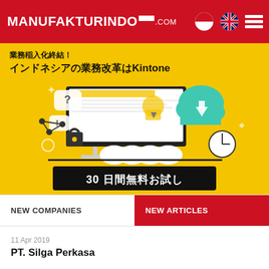MANUFAKTURINDO.com
[Figure (infographic): Advertisement banner for Kintone business software. Yellow background with Japanese text '業務稲入化終結！インドネシアの業務改革はKintone' and a desktop computer illustration with cloud icons. Bottom black bar reads '30 日間無料お試し' (30-day free trial).]
NEW COMPANIES
NEW ARTICLES
11 Apr 2019
PT. Silga Perkasa